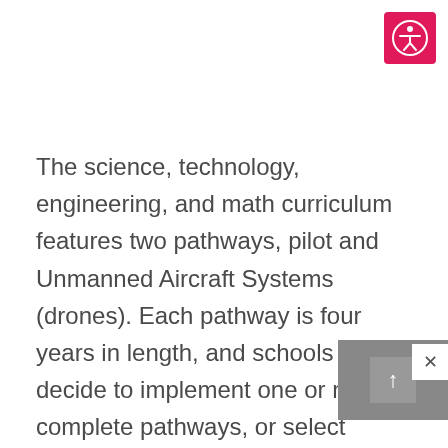[Figure (logo): Accessibility icon button — pink/red square with white person-in-circle (accessibility) symbol, top right corner]
The science, technology, engineering, and math curriculum features two pathways, pilot and Unmanned Aircraft Systems (drones). Each pathway is four years in length, and schools can decide to implement one or more complete pathways, or select individual courses to use as standalone electives.